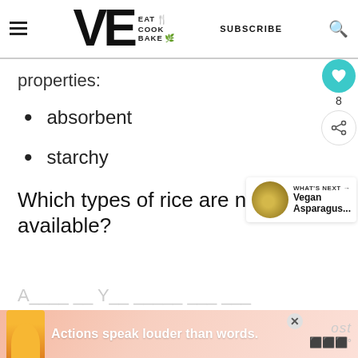VE EAT COOK BAKE | SUBSCRIBE
properties:
absorbent
starchy
Which types of rice are now available?
Actions speak louder than words.